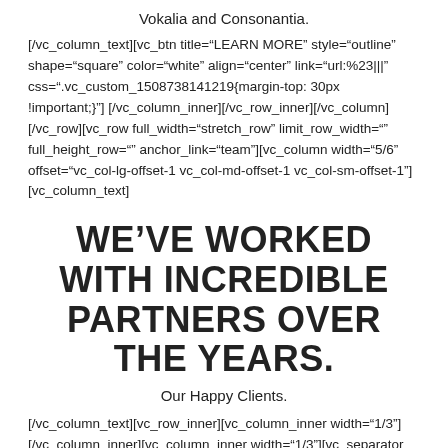Vokalia and Consonantia.
[/vc_column_text][vc_btn title="LEARN MORE" style="outline" shape="square" color="white" align="center" link="url:%23|||" css=".vc_custom_1508738141219{margin-top: 30px !important;}"][/vc_column_inner][/vc_row_inner][/vc_column][/vc_row][vc_row full_width="stretch_row" limit_row_width="" full_height_row="" anchor_link="team"][vc_column width="5/6" offset="vc_col-lg-offset-1 vc_col-md-offset-1 vc_col-sm-offset-1"][vc_column_text]
WE'VE WORKED WITH INCREDIBLE PARTNERS OVER THE YEARS.
Our Happy Clients.
[/vc_column_text][vc_row_inner][vc_column_inner width="1/3"][/vc_column_inner][vc_column_inner width="1/3"][vc_separator border_width="4" el_width="20" css=".vc_custom_1467738037088{margin-top: 5px !important;}"]